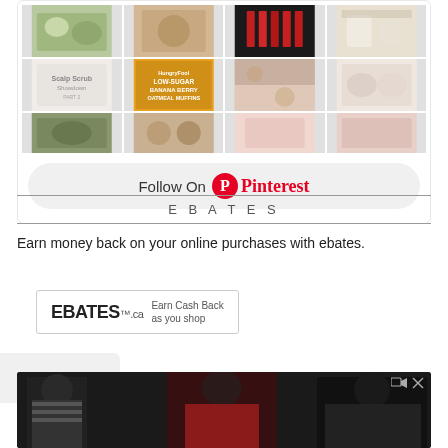[Figure (screenshot): Pinterest widget showing a grid of pin images including food, beauty products, and lifestyle photos]
Follow On Pinterest
EBATES
Earn money back on your online purchases with ebates.
[Figure (logo): Ebates.ca banner with text: Earn Cash Back as you shop]
[Figure (photo): FIT x Hot Topic advertisement showing three people in alternative fashion with Shop Now button]